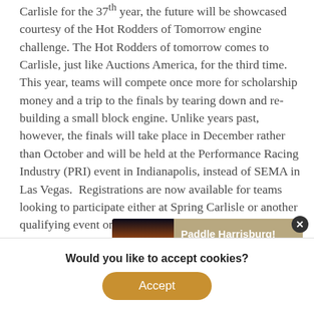Carlisle for the 37th year, the future will be showcased courtesy of the Hot Rodders of Tomorrow engine challenge. The Hot Rodders of tomorrow comes to Carlisle, just like Auctions America, for the third time.  This year, teams will compete once more for scholarship money and a trip to the finals by tearing down and re-building a small block engine. Unlike years past, however, the finals will take place in December rather than October and will be held at the Performance Racing Industry (PRI) event in Indianapolis, instead of SEMA in Las Vegas.  Registrations are now available for teams looking to participate either at Spring Carlisle or another qualifying event on the schedule.
[Figure (screenshot): Advertisement banner for 'Paddle Harrisburg! Explore the Susquehanna River' with a sunset/water photo on the left and text on a tan/brown background. A close (x) button appears in the top right corner.]
For detai... ot
Would you like to accept cookies?
Accept